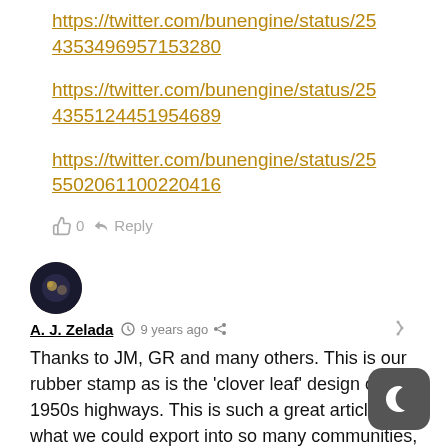https://twitter.com/bunengine/status/254353496957153280
https://twitter.com/bunengine/status/254355124451954689
https://twitter.com/bunengine/status/25550206110022041​6
👍 0  ➤ Reply
[Figure (photo): User avatar for A. J. Zelada - dark circular profile picture]
A. J. Zelada  🕐 9 years ago  ⊲  🔗
Thanks to JM, GR and many others. This is our rubber stamp as is the 'clover leaf' design of the 1950s highways. This is such a great article of what we could export into so many communities, suburban, rural, inner city... so exciting